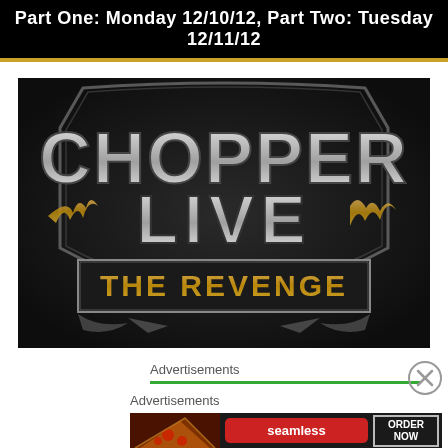Part One: Monday 12/10/12, Part Two: Tuesday 12/11/12
[Figure (logo): Chopper Live: The Revenge logo on dark background with metallic chrome lettering and gold flame decorations]
Advertisements
Advertisements
[Figure (screenshot): Seamless food ordering advertisement with pizza image, red Seamless logo button, and ORDER NOW button]